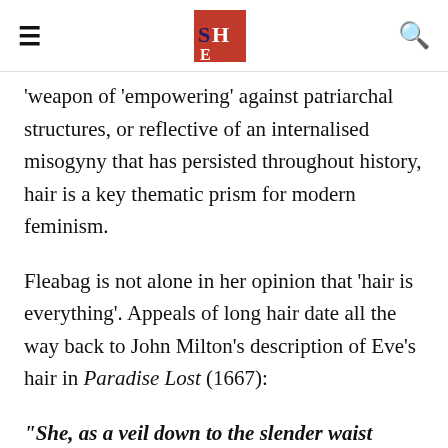[hamburger menu] [The Bind logo] [search icon]
'weapon of 'empowering' against patriarchal structures, or reflective of an internalised misogyny that has persisted throughout history, hair is a key thematic prism for modern feminism.
Fleabag is not alone in her opinion that 'hair is everything'. Appeals of long hair date all the way back to John Milton's description of Eve's hair in Paradise Lost (1667):
“She, as a veil down to the slender waist